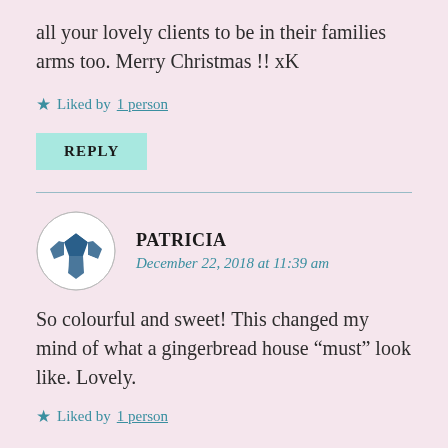all your lovely clients to be in their families arms too. Merry Christmas !! xK
Liked by 1 person
REPLY
PATRICIA
December 22, 2018 at 11:39 am
So colourful and sweet! This changed my mind of what a gingerbread house “must” look like. Lovely.
Liked by 1 person